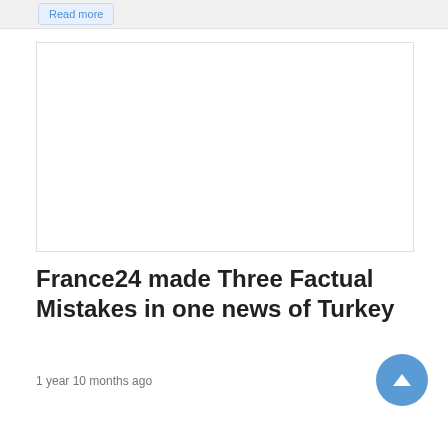Read more
[Figure (other): Blank white image placeholder with light border]
France24 made Three Factual Mistakes in one news of Turkey
1 year 10 months ago